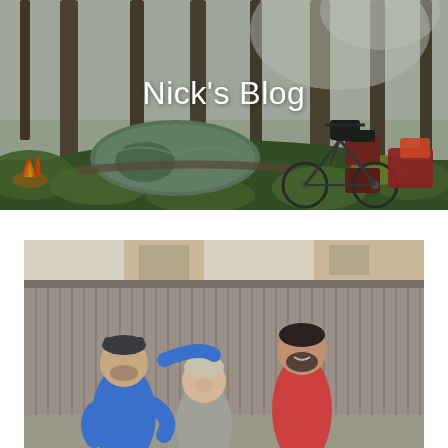[Figure (photo): Forest camping scene with a green tent, loaded touring bicycle with panniers, campfire on the left, tall trees in background, lush green undergrowth on forest floor]
Nick's Blog
[Figure (photo): Three people standing and smiling in front of a tall wooden fence in a backyard. Left person wears a blue jacket and knit hat, middle person is shorter with light hair, right person is taller with dark beard wearing a red top.]